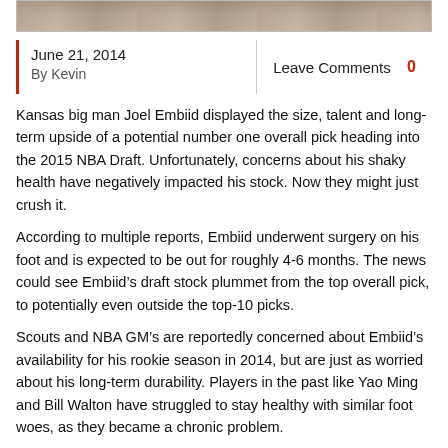[Figure (photo): Cropped photo strip at top of article showing sports figures]
June 21, 2014
By Kevin
Leave Comments  0
Kansas big man Joel Embiid displayed the size, talent and long-term upside of a potential number one overall pick heading into the 2015 NBA Draft. Unfortunately, concerns about his shaky health have negatively impacted his stock. Now they might just crush it.
According to multiple reports, Embiid underwent surgery on his foot and is expected to be out for roughly 4-6 months. The news could see Embiid’s draft stock plummet from the top overall pick, to potentially even outside the top-10 picks.
Scouts and NBA GM’s are reportedly concerned about Embiid’s availability for his rookie season in 2014, but are just as worried about his long-term durability. Players in the past like Yao Ming and Bill Walton have struggled to stay healthy with similar foot woes, as they became a chronic problem.
Already considered a sizeable injury risk even before the surgery, Embiid could now see a significant tumble down draft boards and is almost certainly not going inside the top three picks.